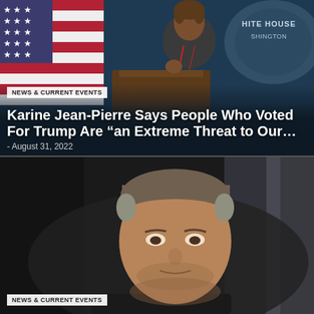[Figure (photo): Woman speaking at White House podium, American flag visible behind her, White House logo partially visible in background]
NEWS & CURRENT EVENTS
Karine Jean-Pierre Says People Who Voted For Trump Are “an Extreme Threat to Our…
- August 31, 2022
[Figure (photo): Close-up of a man with short gray-brown hair looking slightly downward, dark blurred background]
NEWS & CURRENT EVENTS